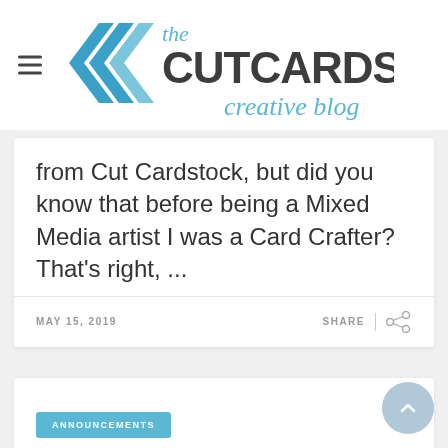[Figure (logo): The CutCardStock Creative Blog logo with double chevron arrows in blue and bold dark text]
from Cut Cardstock, but did you know that before being a Mixed Media artist I was a Card Crafter? That's right, ...
MAY 15, 2019
SHARE
ANNOUNCEMENTS